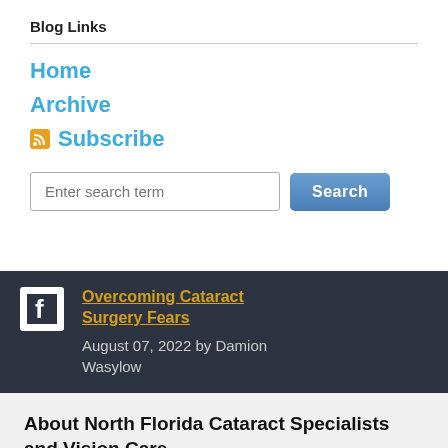Blog Links
Home
Archive
Subscribe
Enter search term  Search
[Figure (screenshot): Facebook icon in white square on dark banner background]
Overcoming Cataract Surgery Fears   August 07, 2022 by Damion Wasylow
About North Florida Cataract Specialists and Vision Care